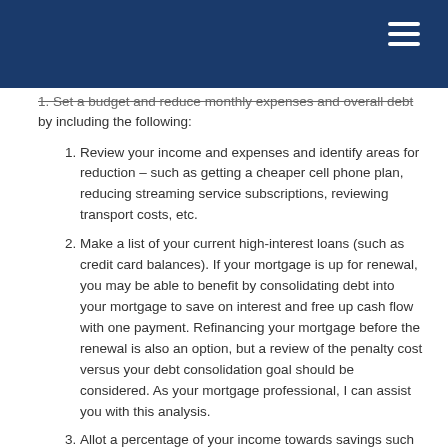1. Set a budget and reduce monthly expenses and overall debt by including the following:
1. Review your income and expenses and identify areas for reduction – such as getting a cheaper cell phone plan, reducing streaming service subscriptions, reviewing transport costs, etc.
2. Make a list of your current high-interest loans (such as credit card balances). If your mortgage is up for renewal, you may be able to benefit by consolidating debt into your mortgage to save on interest and free up cash flow with one payment. Refinancing your mortgage before the renewal is also an option, but a review of the penalty cost versus your debt consolidation goal should be considered. As your mortgage professional, I can assist you with this analysis.
3. Allot a percentage of your income towards savings such as an emergency fund. Your goal should be to have the equivalent of 3 to 6 months of earnings in this fund to provide breathing room should you lose